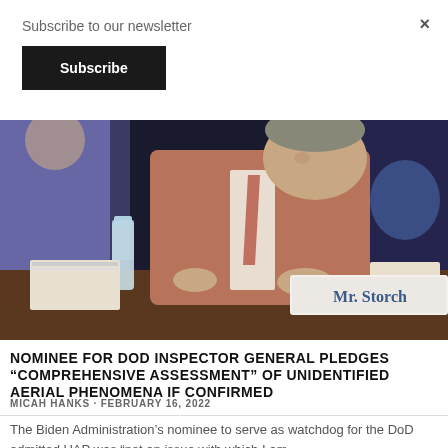Subscribe to our newsletter
Subscribe
×
[Figure (photo): Man in brown suit and tie sitting at a hearing table with a nameplate reading 'Mr. Storch'. A water bottle and documents are visible on the table. Another person stands behind him in a blue outfit.]
NOMINEE FOR DOD INSPECTOR GENERAL PLEDGES "COMPREHENSIVE ASSESSMENT" OF UNIDENTIFIED AERIAL PHENOMENA IF CONFIRMED
MICAH HANKS · FEBRUARY 16, 2022
The Biden Administration's nominee to serve as watchdog for the DoD admitted UAP was "not an issue with which I am